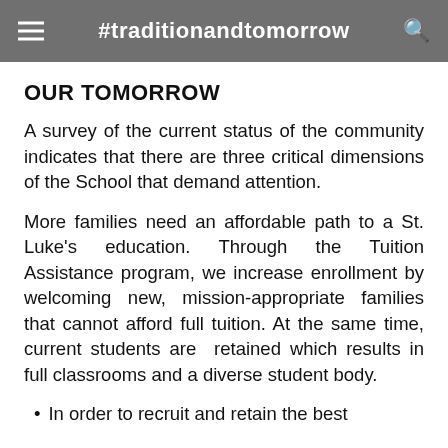#traditionandtomorrow
OUR TOMORROW
A survey of the current status of the community indicates that there are three critical dimensions of the School that demand attention.
More families need an affordable path to a St. Luke's education. Through the Tuition Assistance program, we increase enrollment by welcoming new, mission-appropriate families that cannot afford full tuition. At the same time, current students are  retained which results in full classrooms and a diverse student body.
In order to recruit and retain the best